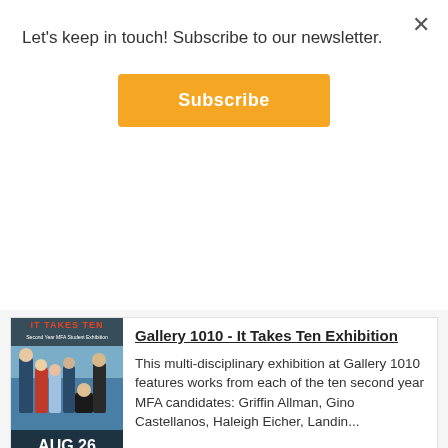Let's keep in touch! Subscribe to our newsletter.
Subscribe
[Figure (photo): Event poster for 'It Takes Ten' Second Year MFA Student Exhibition at Gallery 1010, showing a group of students, with AUG 26 date displayed at the bottom.]
Gallery 1010 - It Takes Ten Exhibition
This multi-disciplinary exhibition at Gallery 1010 features works from each of the ten second year MFA candidates: Griffin Allman, Gino Castellanos, Haleigh Eicher, Landin...